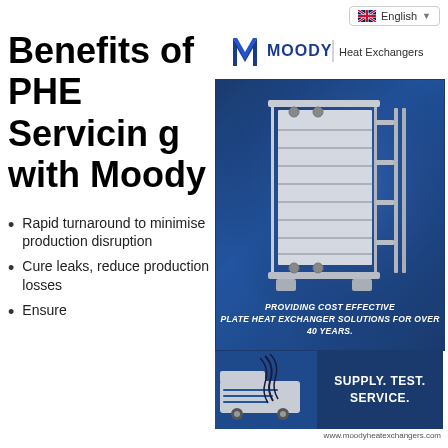English
Benefits of PHE Servicing with Moody
[Figure (logo): Moody Heat Exchangers logo — stylized M above text MOODY | Heat Exchangers]
[Figure (photo): Plate heat exchanger equipment on dark blue background with caption: PROVIDING COST EFFECTIVE PLATE HEAT EXCHANGER SOLUTIONS FOR OVER 40 YEARS.]
[Figure (photo): Moody branded van with text SUPPLY. TEST. SERVICE. on dark blue background]
Rapid turnaround to minimise production disruption
Cure leaks, reduce production losses
Ensure
www.moodyheatexchangers.com